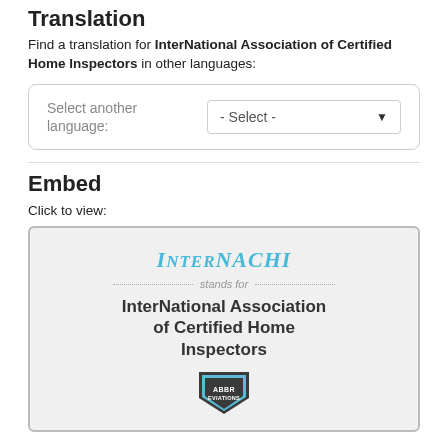Translation
Find a translation for InterNational Association of Certified Home Inspectors in other languages:
Select another language: - Select -
Embed
Click to view:
[Figure (infographic): InterNACHI embed card showing the InterNACHI logo in teal italic uppercase serif font, a 'stands for' dotted line row, the full name 'InterNational Association of Certified Home Inspectors' in bold dark text, and an Abbreviations badge/logo at the bottom.]